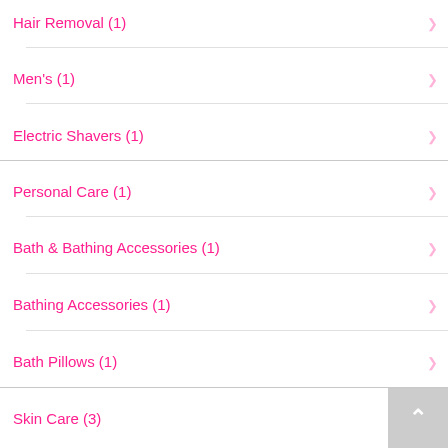Hair Removal (1)
Men's (1)
Electric Shavers (1)
Personal Care (1)
Bath & Bathing Accessories (1)
Bathing Accessories (1)
Bath Pillows (1)
Skin Care (3)
Face (1)
Treatments & Masks (1)